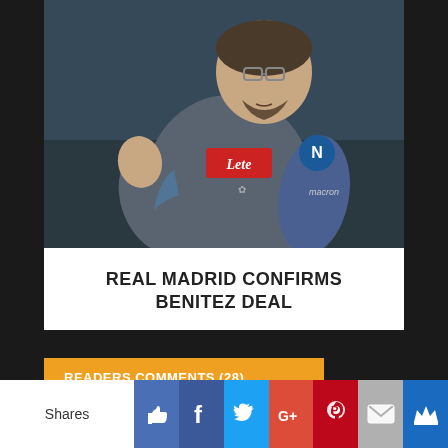[Figure (photo): A man in a grey Napoli training top with 'Lete' sponsor giving a thumbs up gesture, wearing glasses]
REAL MADRID CONFIRMS BENITEZ DEAL
READERS COMMENTS (28)
ALLSPORTS.COM.GH
Shares